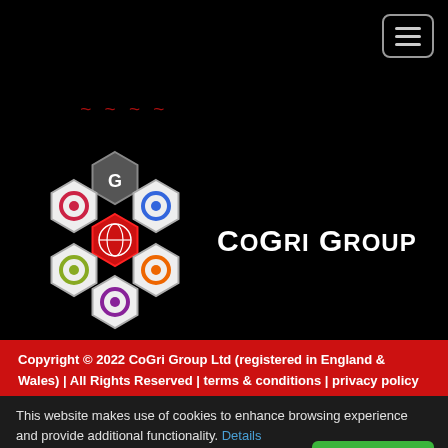[Figure (logo): CoGri Group logo with hexagon cluster and text 'CoGri Group']
[Figure (other): Social media icons: Facebook, Twitter, YouTube, LinkedIn, Instagram]
Copyright © 2022 CoGri Group Ltd (registered in England & Wales) | All Rights Reserved | terms & conditions | privacy policy
This website makes use of cookies to enhance browsing experience and provide additional functionality. Details
Allow cookies